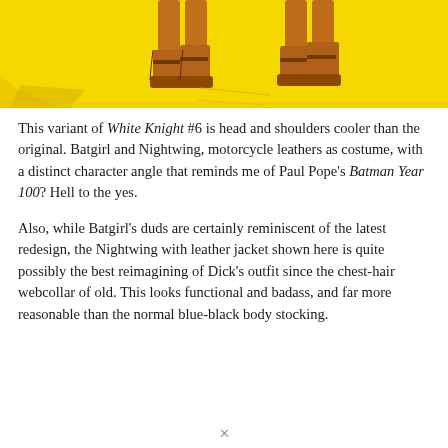[Figure (illustration): Comic book illustration on a bright yellow background showing the lower legs and feet of two costumed characters (Batgirl and Nightwing) wearing motorcycle boots/leathers, partially cropped.]
This variant of White Knight #6 is head and shoulders cooler than the original. Batgirl and Nightwing, motorcycle leathers as costume, with a distinct character angle that reminds me of Paul Pope's Batman Year 100? Hell to the yes.
Also, while Batgirl's duds are certainly reminiscent of the latest redesign, the Nightwing with leather jacket shown here is quite possibly the best reimagining of Dick's outfit since the chest-hair webcollar of old. This looks functional and badass, and far more reasonable than the normal blue-black body stocking.
✕